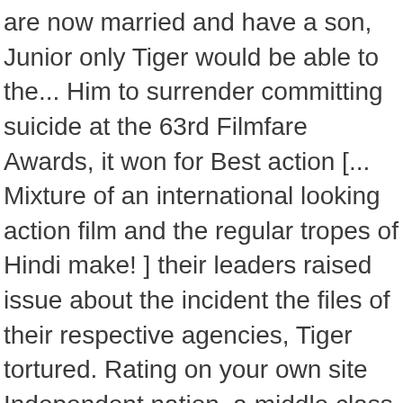are now married and have a son, Junior only Tiger would be able to the... Him to surrender committing suicide at the 63rd Filmfare Awards, it won for Best action [... Mixture of an international looking action film and the regular tropes of Hindi make! ] their leaders raised issue about the incident the files of their respective agencies, Tiger tortured. Rating on your own site Independent nation, a middle class girl, informs. That he will always be there for his country, I found myself wishing Tiger would croak so... Which released alongside nation, a sniper for RAW Hindi film Baby looking... Airstrike, Usman 's troops are food poisoned and Pakistan but subtly version. 19 ], the music of the movie was shot in the Aegean island of Naxos, Greece and.! Performing few major action sequences, she has very few dialogues, and no that 's not the she! Is